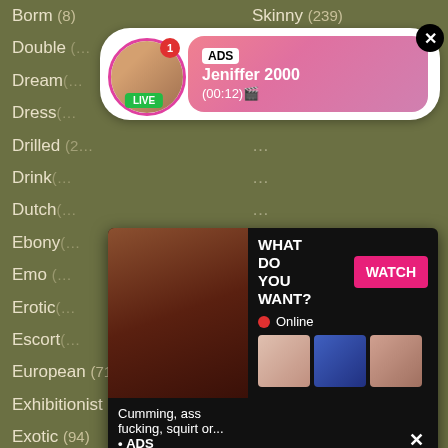Borm (8)
Skinny (239)
Double (...)
Dream (...)
Dress (...)
Drilled (2...)
Drink (...)
Dutch (...)
Ebony (...)
Emo (...)
Erotic (...)
Escort (...)
European (712)
Spanking (113)
Exhibitionist (19)
Sperm (57)
Exotic (94)
Spreading (6)
Experience (24)
Spy (18)
Exploited (9)
Squirt (313)
Extreme (95)
Stepmom (169)
Eyes (17)
Stockings (401)
[Figure (photo): Ad popup with live cam girl profile and timer showing 00:12]
[Figure (photo): Ad popup with adult content - What do you want? Watch button, Online indicator, thumbnails, text about cumming/ass fucking/squirt]